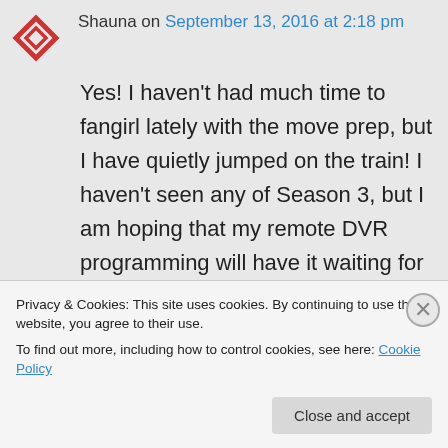Shauna on September 13, 2016 at 2:18 pm
Yes! I haven't had much time to fangirl lately with the move prep, but I have quietly jumped on the train! I haven't seen any of Season 3, but I am hoping that my remote DVR programming will have it waiting for me when I get to Buffalo. Sean hasn't asked me why a random
Privacy & Cookies: This site uses cookies. By continuing to use this website, you agree to their use.
To find out more, including how to control cookies, see here: Cookie Policy
Close and accept